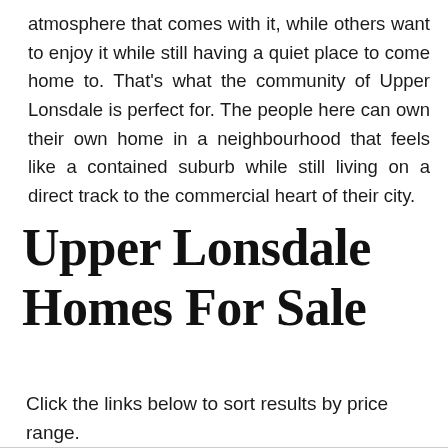atmosphere that comes with it, while others want to enjoy it while still having a quiet place to come home to. That's what the community of Upper Lonsdale is perfect for. The people here can own their own home in a neighbourhood that feels like a contained suburb while still living on a direct track to the commercial heart of their city.
Upper Lonsdale Homes For Sale
Click the links below to sort results by price range.